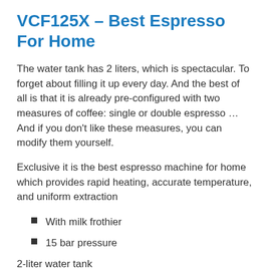VCF125X – Best Espresso For Home
The water tank has 2 liters, which is spectacular. To forget about filling it up every day. And the best of all is that it is already pre-configured with two measures of coffee: single or double espresso … And if you don't like these measures, you can modify them yourself.
Exclusive it is the best espresso machine for home which provides rapid heating, accurate temperature, and uniform extraction
With milk frothier
15 bar pressure
2-liter water tank
With automated doses: pre-programmed single